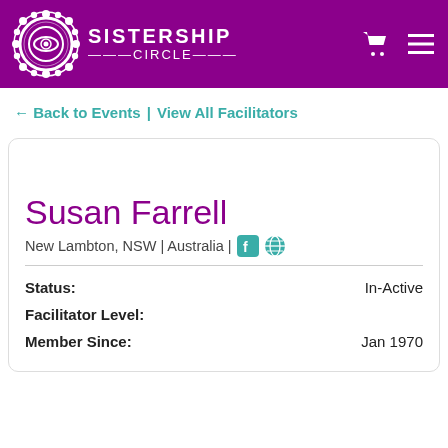[Figure (logo): Sistership Circle logo: gear/sun shape with eye in center, white on purple, with text SISTERSHIP CIRCLE]
SISTERSHIP CIRCLE
← Back to Events | View All Facilitators
Susan Farrell
New Lambton, NSW | Australia |
| Field | Value |
| --- | --- |
| Status: | In-Active |
| Facilitator Level: |  |
| Member Since: | Jan 1970 |